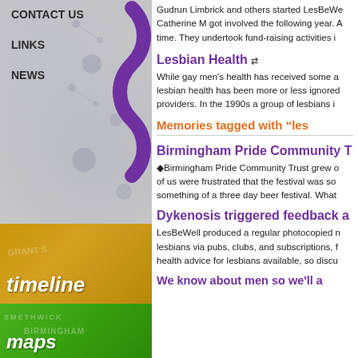CONTACT US
LINKS
NEWS
Gudrun Limbrick and others started LesBeWell. Catherine M got involved the following year. A time. They undertook fund-raising activities i
Lesbian Health
While gay men's health has received some a lesbian health has been more or less ignored providers. In the 1990s a group of lesbians i
Memories tagged with "les
Birmingham Pride Community T
Birmingham Pride Community Trust grew o of us were frustrated that the festival was so something of a three day beer festival. What
Dykenosis triggered feedback a
LesBeWell produced a regular photocopied n lesbians via pubs, clubs, and subscriptions, f health advice for lesbians available, so discu
We know about men so we'll a